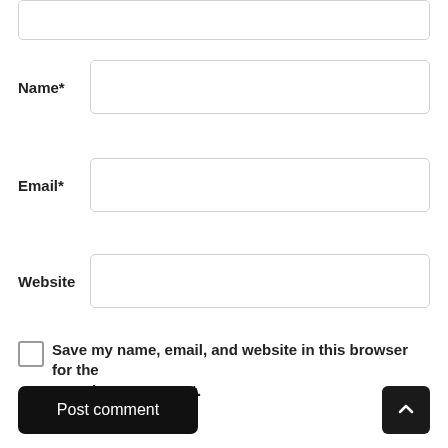[textarea top partial]
Name*
Email*
Website
Save my name, email, and website in this browser for the next time I comment.
Post comment